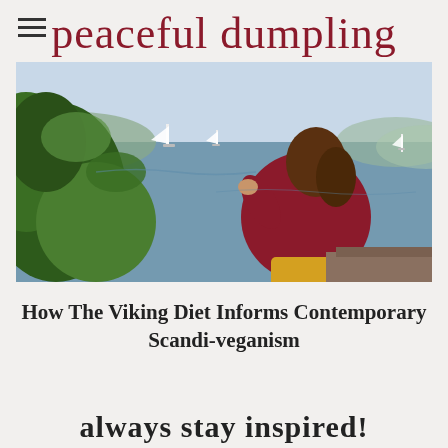peaceful dumpling
[Figure (photo): Woman in red jacket crouching near leafy branches overlooking a bay with sailboats on the water, hills in background]
How The Viking Diet Informs Contemporary Scandi-veganism
always stay inspired!